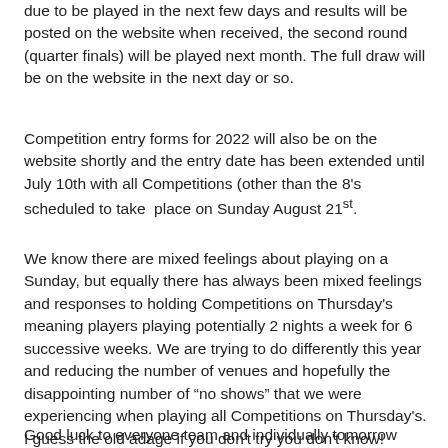due to be played in the next few days and results will be posted on the website when received, the second round (quarter finals) will be played next month. The full draw will be on the website in the next day or so.
Competition entry forms for 2022 will also be on the website shortly and the entry date has been extended until July 10th with all Competitions (other than the 8's scheduled to take place on Sunday August 21st.
We know there are mixed feelings about playing on a Sunday, but equally there has always been mixed feelings and responses to holding Competitions on Thursday's meaning players playing potentially 2 nights a week for 6 successive weeks. We are trying to do differently this year and reducing the number of venues and hopefully the disappointing number of "no shows" that we were experiencing when playing all Competitions on Thursday's. I guess the old adage if you don't try you don't know!
Good luck to everyone team and individually tomorrow